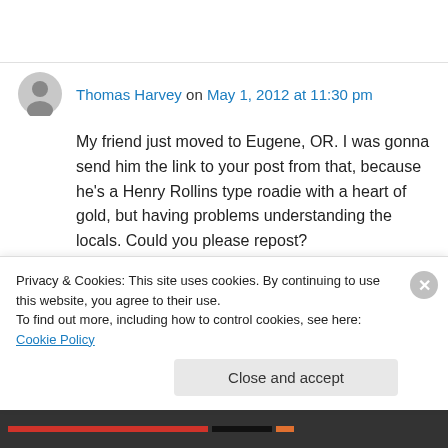Thomas Harvey on May 1, 2012 at 11:30 pm
My friend just moved to Eugene, OR. I was gonna send him the link to your post from that, because he’s a Henry Rollins type roadie with a heart of gold, but having problems understanding the locals. Could you please repost?
Privacy & Cookies: This site uses cookies. By continuing to use this website, you agree to their use. To find out more, including how to control cookies, see here: Cookie Policy
Close and accept